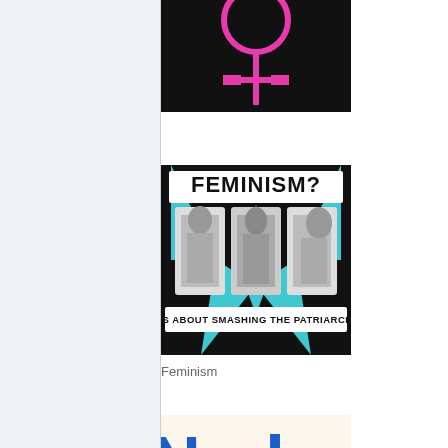[Figure (illustration): Top portion of a dark image showing a pink female/Venus symbol on a black background, partially cropped at the top of the page]
[Figure (illustration): Feminism meme image: black and teal background with text 'FEMINISM?' at top, three historical black-and-white photos of women in the center, and text 'IT'S ABOUT SMASHING THE PATRIARCHY.' at the bottom]
Feminism
[Figure (illustration): Partial view of a book or logo showing the word 'Nudge' in large blue letters on a light/cream background, cropped at the bottom of the page]